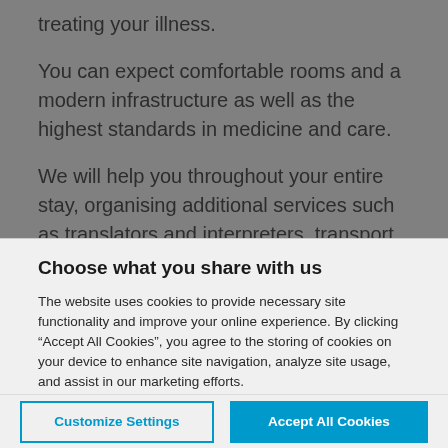treating your illness.
You can expect comfortable rooms and a modern infrastructure as well as the highest standards in medicine and care.
We will help you throughout your entire stay, organising additional services such as translators and interpreters, transport, and
Choose what you share with us
The website uses cookies to provide necessary site functionality and improve your online experience. By clicking “Accept All Cookies”, you agree to the storing of cookies on your device to enhance site navigation, analyze site usage, and assist in our marketing efforts.
Privacy Notice
Customize Settings
Accept All Cookies